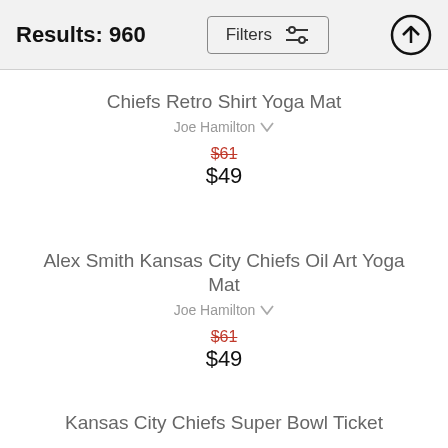Results: 960
Filters
Chiefs Retro Shirt Yoga Mat
Joe Hamilton
$61
$49
Alex Smith Kansas City Chiefs Oil Art Yoga Mat
Joe Hamilton
$61
$49
Kansas City Chiefs Super Bowl Ticket